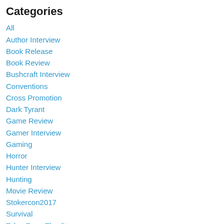Categories
All
Author Interview
Book Release
Book Review
Bushcraft Interview
Conventions
Cross Promotion
Dark Tyrant
Game Review
Gamer Interview
Gaming
Horror
Hunter Interview
Hunting
Movie Review
Stokercon2017
Survival
Tales From The Storm
Training